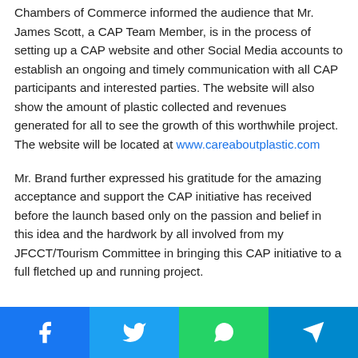Chambers of Commerce informed the audience that Mr. James Scott, a CAP Team Member, is in the process of setting up a CAP website and other Social Media accounts to establish an ongoing and timely communication with all CAP participants and interested parties. The website will also show the amount of plastic collected and revenues generated for all to see the growth of this worthwhile project. The website will be located at www.careaboutplastic.com
Mr. Brand further expressed his gratitude for the amazing acceptance and support the CAP initiative has received before the launch based only on the passion and belief in this idea and the hardwork by all involved from my JFCCT/Tourism Committee in bringing this CAP initiative to a full fletched up and running project.
[Figure (infographic): Social media share buttons: Facebook (blue), Twitter (light blue), WhatsApp (green), Telegram (teal/dark blue)]